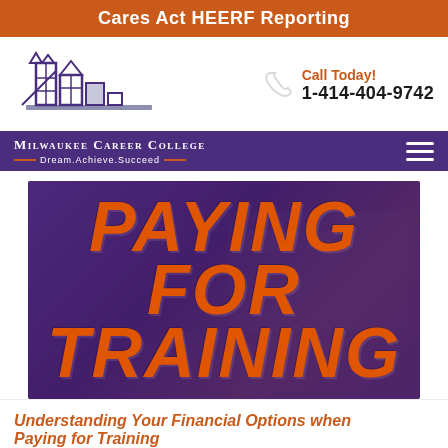Cares Act HEERF Reporting
[Figure (logo): Milwaukee Career College logo with stylized building/skyline graphic in navy blue and gray]
Call Today!
1-414-404-9742
Milwaukee Career College Dream.Achieve.Succeed
[Figure (photo): Hero banner with photo of hands on calculator/financial documents overlaid with purple tint, large orange italic text reading PAYING FOR TRAINING]
Understanding Your Financial Options when Paying for Training